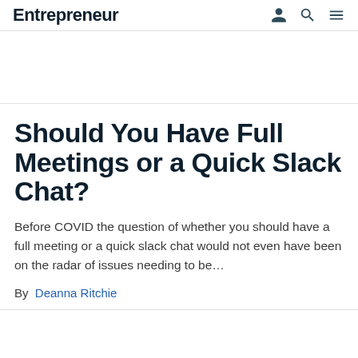Entrepreneur
Should You Have Full Meetings or a Quick Slack Chat?
Before COVID the question of whether you should have a full meeting or a quick slack chat would not even have been on the radar of issues needing to be…
By Deanna Ritchie